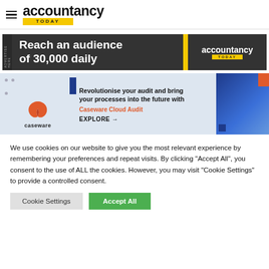accountancy TODAY
[Figure (infographic): Advertisement banner: dark background with text 'Reach an audience of 30,000 daily' and Accountancy Today logo on right with yellow accent bar]
[Figure (infographic): Caseware Cloud Audit advertisement banner with robot hand image, text 'Revolutionise your audit and bring your processes into the future with Caseware Cloud Audit', explore link]
We use cookies on our website to give you the most relevant experience by remembering your preferences and repeat visits. By clicking "Accept All", you consent to the use of ALL the cookies. However, you may visit "Cookie Settings" to provide a controlled consent.
Cookie Settings | Accept All